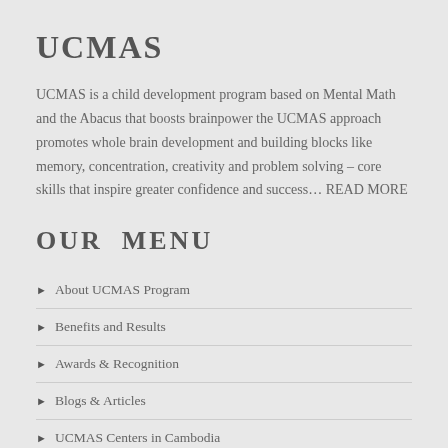UCMAS
UCMAS is a child development program based on Mental Math and the Abacus that boosts brainpower the UCMAS approach promotes whole brain development and building blocks like memory, concentration, creativity and problem solving – core skills that inspire greater confidence and success... READ MORE
OUR MENU
About UCMAS Program
Benefits and Results
Awards & Recognition
Blogs & Articles
UCMAS Centers in Cambodia